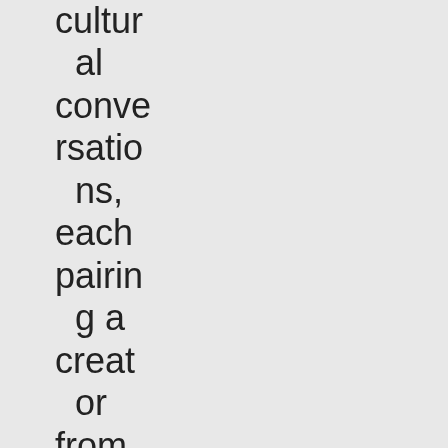cultural conversations, each pairing a creator from the gaming community with